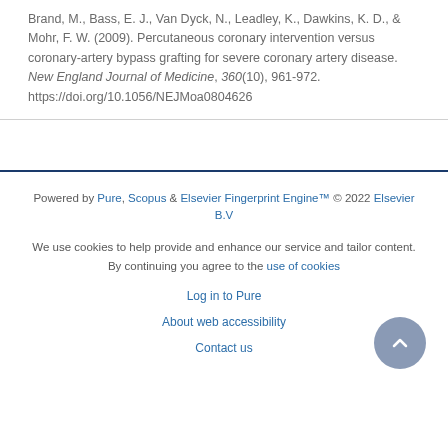Brand, M., Bass, E. J., Van Dyck, N., Leadley, K., Dawkins, K. D., & Mohr, F. W. (2009). Percutaneous coronary intervention versus coronary-artery bypass grafting for severe coronary artery disease. New England Journal of Medicine, 360(10), 961-972. https://doi.org/10.1056/NEJMoa0804626
Powered by Pure, Scopus & Elsevier Fingerprint Engine™ © 2022 Elsevier B.V

We use cookies to help provide and enhance our service and tailor content. By continuing you agree to the use of cookies

Log in to Pure

About web accessibility

Contact us